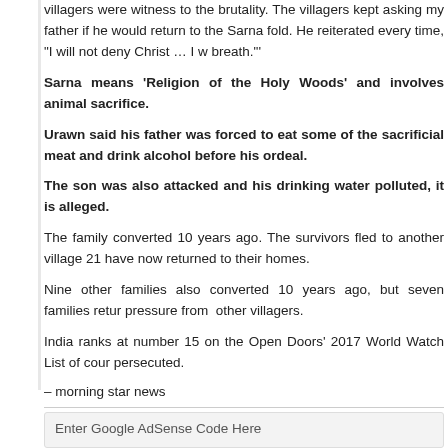villagers were witness to the brutality. The villagers kept asking my father if he would return to the Sarna fold. He reiterated every time, "I will not deny Christ … I will my last breath."
Sarna means 'Religion of the Holy Woods' and involves animal sacrifice.
Urawn said his father was forced to eat some of the sacrificial meat and drink alcohol before his ordeal.
The son was also attacked and his drinking water polluted, it is alleged.
The family converted 10 years ago. The survivors fled to another village 21 … have now returned to their homes.
Nine other families also converted 10 years ago, but seven families returned due to pressure from other villagers.
India ranks at number 15 on the Open Doors' 2017 World Watch List of countries where Christians are persecuted.
– morning star news
Tags:
Enter Google AdSense Code Here